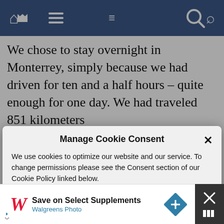[Figure (screenshot): Mobile website navigation bar with home icon, hamburger menu, and search icon on dark blue background]
We chose to stay overnight in Monterrey, simply because we had driven for ten and a half hours – quite enough for one day. We had traveled 851 kilometers
Manage Cookie Consent
We use cookies to optimize our website and our service. To change permissions please see the Consent section of our Cookie Policy linked below.
Accept
[Figure (screenshot): Advertisement banner: Save on Select Supplements – Walgreens Photo, with Walgreens W logo and navigation icon]